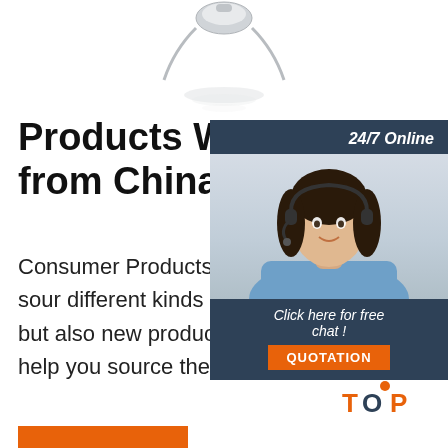[Figure (photo): Top portion of a necklace/pendant product photo with reflection, partially visible at top of page]
Products We Help You from China -Jingsourci
[Figure (infographic): Customer service chat widget with 24/7 Online label, photo of female agent with headset, Click here for free chat text, and QUOTATION button]
Consumer Products Sourcing. As the le sourcing company, we help clients sour different kinds of products every day. W help you get competitive prices but also new product recommendations from fac agents in our company can help you source the following consumer products, like household, garden ...
[Figure (logo): TOP back-to-top button with orange dots arranged in triangle and orange/navy TOP text]
[Figure (other): Orange bar/button at bottom left]